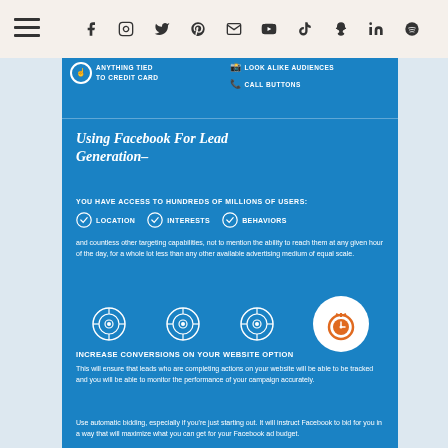[Figure (infographic): Infographic about using Facebook for Lead Generation. Blue panel contains: heading 'Using Facebook For Lead Generation-', text about access to hundreds of millions of users with targeting by Location, Interests, Behaviors. Body text about targeting capabilities and cost. Target/crosshair icons and stopwatch icon. Section on 'Increase Conversions on Your Website Option' with body text. Auto bidding tip text. Top portion shows partial cutoff items including 'Anything Tied to Credit Card', 'Call Buttons', 'Look Alike Audiences'. Social media icons bar at top with Facebook, Instagram, Twitter, Pinterest, Email, YouTube, TikTok, Snapchat, LinkedIn, Spotify icons.]